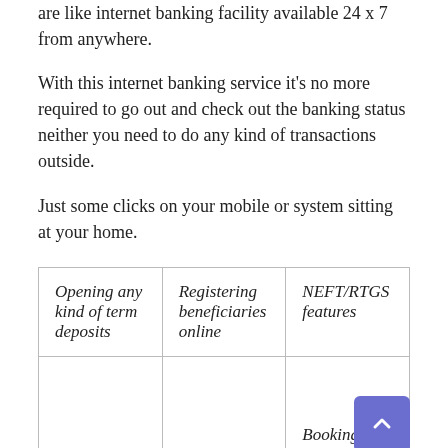are like internet banking facility available 24 x 7 from anywhere.
With this internet banking service it's no more required to go out and check out the banking status neither you need to do any kind of transactions outside.
Just some clicks on your mobile or system sitting at your home.
| Opening any kind of term deposits | Registering beneficiaries online | NEFT/RTGS features |
|  |  | Booking |